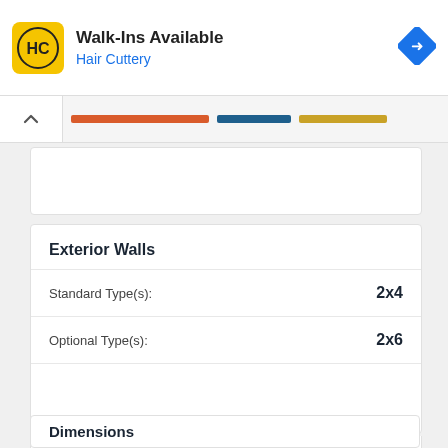[Figure (screenshot): Hair Cuttery advertisement banner with HC logo, 'Walk-Ins Available' headline, 'Hair Cuttery' subtitle in blue, and a blue navigation arrow icon on the right]
[Figure (screenshot): App navigation bar with chevron up button and three colored horizontal bar segments (orange, dark blue, yellow/gold) indicating a progress or tab indicator]
Exterior Walls
Standard Type(s): 2x4
Optional Type(s): 2x6
Dimensions